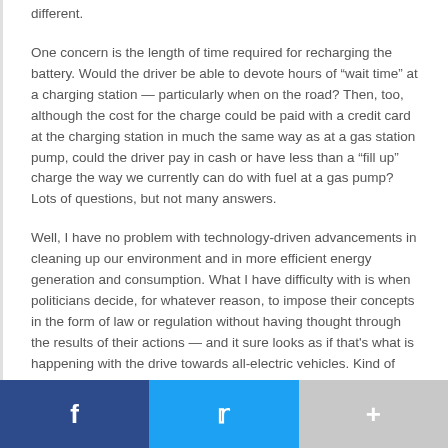different.
One concern is the length of time required for recharging the battery. Would the driver be able to devote hours of “wait time” at a charging station — particularly when on the road? Then, too, although the cost for the charge could be paid with a credit card at the charging station in much the same way as at a gas station pump, could the driver pay in cash or have less than a “fill up” charge the way we currently can do with fuel at a gas pump? Lots of questions, but not many answers.
Well, I have no problem with technology-driven advancements in cleaning up our environment and in more efficient energy generation and consumption. What I have difficulty with is when politicians decide, for whatever reason, to impose their concepts in the form of law or regulation without having thought through the results of their actions — and it sure looks as if that's what is happening with the drive towards all-electric vehicles. Kind of wonder if we aren't in for
[Figure (other): Social sharing footer bar with Facebook (blue), Twitter (light blue), and a plus/more button (gray)]